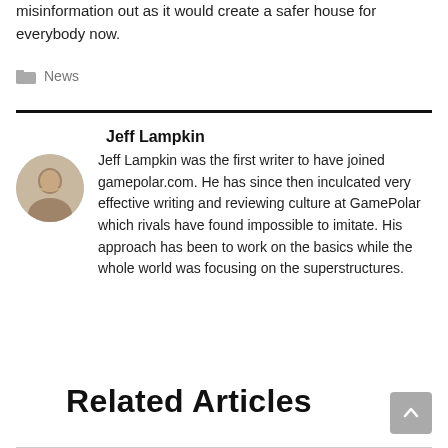misinformation out as it would create a safer house for everybody now.
News
Jeff Lampkin
Jeff Lampkin was the first writer to have joined gamepolar.com. He has since then inculcated very effective writing and reviewing culture at GamePolar which rivals have found impossible to imitate. His approach has been to work on the basics while the whole world was focusing on the superstructures.
Related Articles